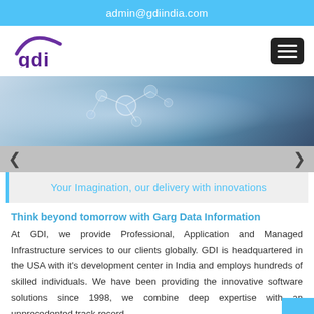admin@gdiindia.com
[Figure (logo): GDI logo - purple arc over 'gdi' text in purple]
[Figure (photo): Hero banner image showing technology/network concept with person holding tablet]
Your Imagination, our delivery with innovations
Think beyond tomorrow with Garg Data Information
At GDI, we provide Professional, Application and Managed Infrastructure services to our clients globally. GDI is headquartered in the USA with it's development center in India and employs hundreds of skilled individuals. We have been providing the innovative software solutions since 1998, we combine deep expertise with an unprecedented track record